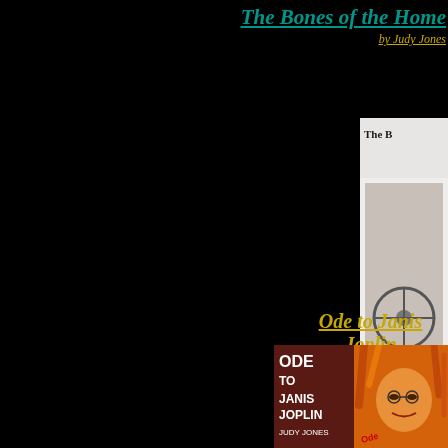The Bones of the Home
by Judy Jones
[Figure (photo): Book cover for 'The Bones of the Home' by Judy Jones, showing a partial title and an object on a surface, with text 'Includes' at bottom]
Ode to Janis Joplin
by Judy Jones
[Figure (photo): Book cover for 'Ode to Janis Joplin' by Judy Jones, showing dark maroon left panel with white text 'ODE TO JANIS JOPLIN JUDY JONES' and right panel with orange/red painted portrait of Janis Joplin]